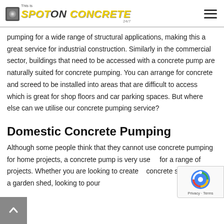Spot On Concrete 24/7 — site header with navigation toggle
pumping for a wide range of structural applications, making this a great service for industrial construction. Similarly in the commercial sector, buildings that need to be accessed with a concrete pump are naturally suited for concrete pumping. You can arrange for concrete and screed to be installed into areas that are difficult to access which is great for shop floors and car parking spaces. But where else can we utilise our concrete pumping service?
Domestic Concrete Pumping
Although some people think that they cannot use concrete pumping for home projects, a concrete pump is very useful for a range of projects. Whether you are looking to create a concrete shed base for a garden shed, looking to pour